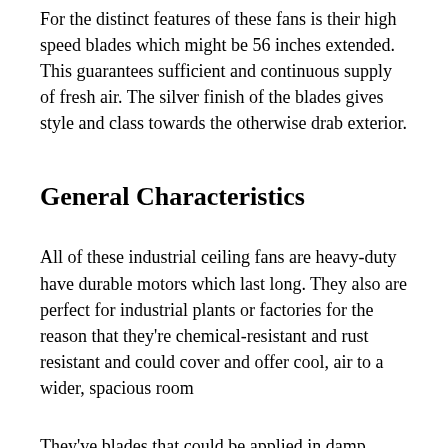For the distinct features of these fans is their high speed blades which might be 56 inches extended. This guarantees sufficient and continuous supply of fresh air. The silver finish of the blades gives style and class towards the otherwise drab exterior.
General Characteristics
All of these industrial ceiling fans are heavy-duty have durable motors which last long. They also are perfect for industrial plants or factories for the reason that they're chemical-resistant and rust resistant and could cover and offer cool, air to a wider, spacious room
They've blades that could be applied in damp locations and you could successfully use them in location of air-conditioners. Because of the speed of